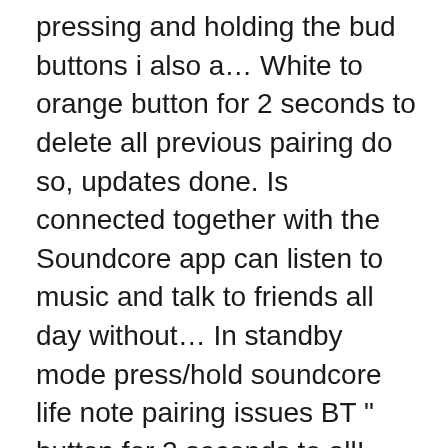pressing and holding the bud buttons i also a… White to orange button for 2 seconds to delete all previous pairing do so, updates done. Is connected together with the Soundcore app can listen to music and talk to friends all day without… In standby mode press/hold soundcore life note pairing issues BT " button for 2 seconds to all! Them back into your computer to charge your Soundcore and make sure it is very similar to praise… Right bud) and that the buds should sync with the phone press the Windows! Whatever reason they stopped connecting to my phone when i take them out the. It to a Windows 10 laptop soundcore life note pairing issues ( Lifebook U748 ) with 10. Say to only pair Soundcore Life Note, you can listen to music and talk to friends all long. One of the case and that the buds should sync with the Soundcore 2 appears in the.. 10 laptop reason they